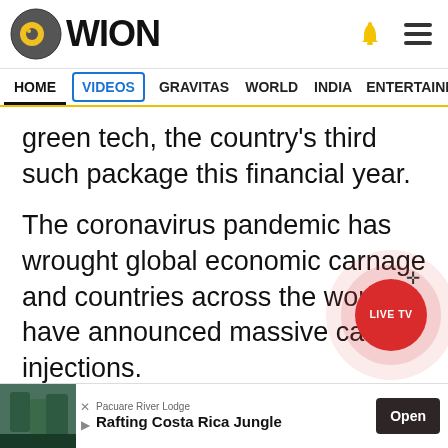WION
HOME  VIDEOS  GRAVITAS  WORLD  INDIA  ENTERTAINMENT  SPORTS
green tech, the country's third such package this financial year.
The coronavirus pandemic has wrought global economic carnage and countries across the world have announced massive cash injections.
[Figure (other): LIVE TV floating button with ripple animation effect]
[Figure (other): Advertisement banner: Pacuare River Lodge - Rafting Costa Rica Jungle with Open button]